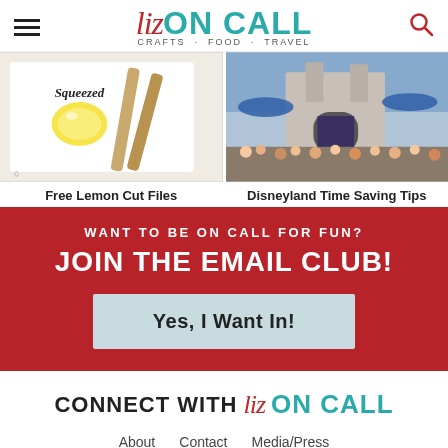Liz ON CALL · CRAFTS · FOOD · TRAVEL
[Figure (photo): Photo of lemon-themed craft item with text 'Squeezed' and bamboo straws on white background]
Free Lemon Cut Files
[Figure (photo): Photo of Disneyland castle area with crowd of visitors and blue decorations]
Disneyland Time Saving Tips
WANT TO BE ON CALL FOR FUN?
JOIN THE EMAIL CLUB!
Yes, I Want In!
CONNECT WITH Liz ON CALL
About   Contact   Media/Press